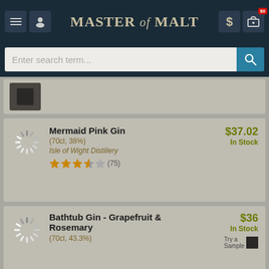Master of Malt
Enter search term...
Mermaid Pink Gin (70cl, 38%) Isle of Wight Distillery ★★★★☆ (75) $37.02 In Stock
Bathtub Gin - Grapefruit & Rosemary (70cl, 43.3%) $36 In Stock Try a Sample